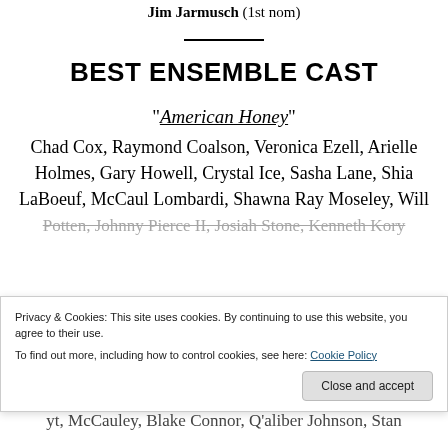Jim Jarmusch (1st nom)
BEST ENSEMBLE CAST
"American Honey"
Chad Cox, Raymond Coalson, Veronica Ezell, Arielle Holmes, Gary Howell, Crystal Ice, Sasha Lane, Shia LaBoeuf, McCaul Lombardi, Shawna Ray Moseley, Will Poulter, Johnny Pierce II, Josiah Stone, Kenneth Kory...
Privacy & Cookies: This site uses cookies. By continuing to use this website, you agree to their use.
To find out more, including how to control cookies, see here: Cookie Policy
Close and accept
yt, McCauley, Blake Connor, Q'aliber Johnson, Stan...